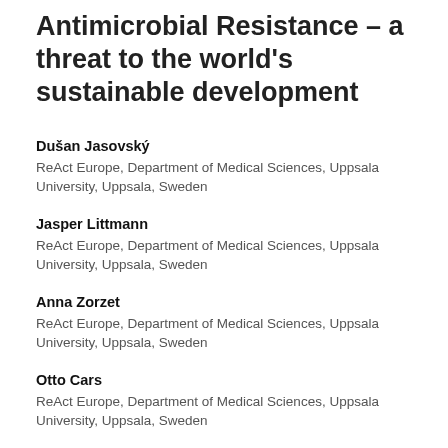Antimicrobial Resistance – a threat to the world's sustainable development
Dušan Jasovský
ReAct Europe, Department of Medical Sciences, Uppsala University, Uppsala, Sweden
Jasper Littmann
ReAct Europe, Department of Medical Sciences, Uppsala University, Uppsala, Sweden
Anna Zorzet
ReAct Europe, Department of Medical Sciences, Uppsala University, Uppsala, Sweden
Otto Cars
ReAct Europe, Department of Medical Sciences, Uppsala University, Uppsala, Sweden